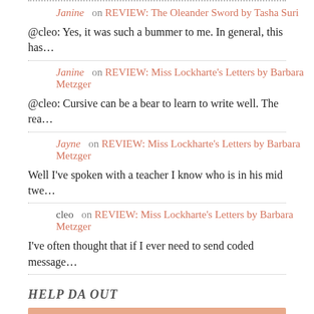Janine on REVIEW: The Oleander Sword by Tasha Suri
@cleo: Yes, it was such a bummer to me. In general, this has…
Janine on REVIEW: Miss Lockharte's Letters by Barbara Metzger
@cleo: Cursive can be a bear to learn to write well. The rea…
Jayne on REVIEW: Miss Lockharte's Letters by Barbara Metzger
Well I've spoken with a teacher I know who is in his mid twe…
cleo on REVIEW: Miss Lockharte's Letters by Barbara Metzger
I've often thought that if I ever need to send coded message…
HELP DA OUT
DA is a participant in the Amazon Services LLC Associates Program, an affiliate advertising program designed to provide a means for website